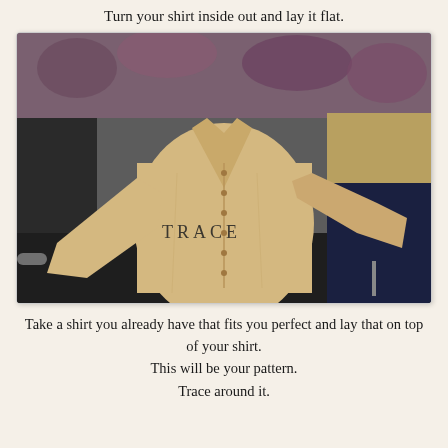Turn your shirt inside out and lay it flat.
[Figure (photo): A beige/tan button-up shirt laid flat inside out on a dark surface with fabric and other items in the background. The word TRACE is overlaid on the shirt.]
Take a shirt you already have that fits you perfect and lay that on top of your shirt.
This will be your pattern.
Trace around it.